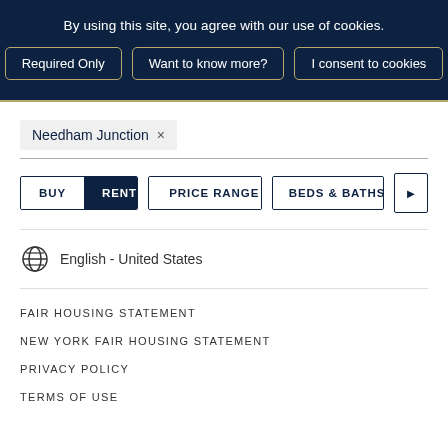By using this site, you agree with our use of cookies.
Required Only | Want to know more? | I consent to cookies
Needham Junction ×
BUY | RENT | PRICE RANGE | BEDS & BATHS
English - United States
FAIR HOUSING STATEMENT
NEW YORK FAIR HOUSING STATEMENT
PRIVACY POLICY
TERMS OF USE